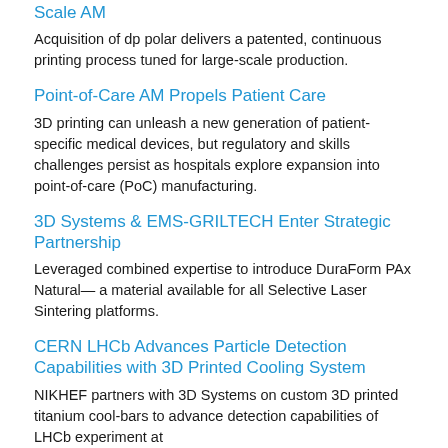Scale AM
Acquisition of dp polar delivers a patented, continuous printing process tuned for large-scale production.
Point-of-Care AM Propels Patient Care
3D printing can unleash a new generation of patient-specific medical devices, but regulatory and skills challenges persist as hospitals explore expansion into point-of-care (PoC) manufacturing.
3D Systems & EMS-GRILTECH Enter Strategic Partnership
Leveraged combined expertise to introduce DuraForm PAx Natural— a material available for all Selective Laser Sintering platforms.
CERN LHCb Advances Particle Detection Capabilities with 3D Printed Cooling System
NIKHEF partners with 3D Systems on custom 3D printed titanium cool-bars to advance detection capabilities of LHCb experiment at